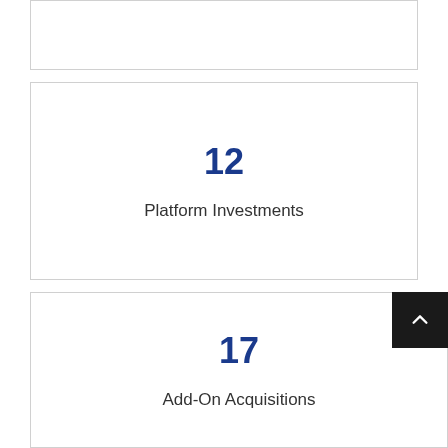[Figure (infographic): Top card - partially visible, empty white box with border]
12
Platform Investments
17
Add-On Acquisitions